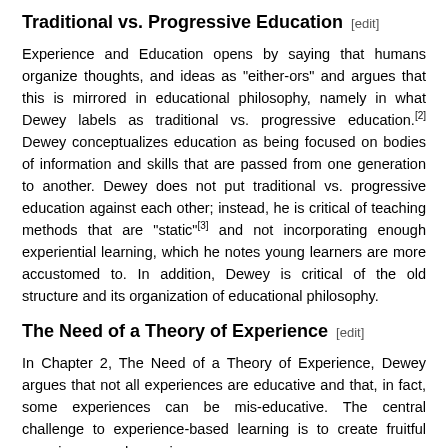Traditional vs. Progressive Education [edit]
Experience and Education opens by saying that humans organize thoughts, and ideas as "either-ors" and argues that this is mirrored in educational philosophy, namely in what Dewey labels as traditional vs. progressive education.[2] Dewey conceptualizes education as being focused on bodies of information and skills that are passed from one generation to another. Dewey does not put traditional vs. progressive education against each other; instead, he is critical of teaching methods that are "static"[3] and not incorporating enough experiential learning, which he notes young learners are more accustomed to. In addition, Dewey is critical of the old structure and its organization of educational philosophy.
The Need of a Theory of Experience [edit]
In Chapter 2, The Need of a Theory of Experience, Dewey argues that not all experiences are educative and that, in fact, some experiences can be mis-educative. The central challenge to experience-based learning is to create fruitful experiences and organize